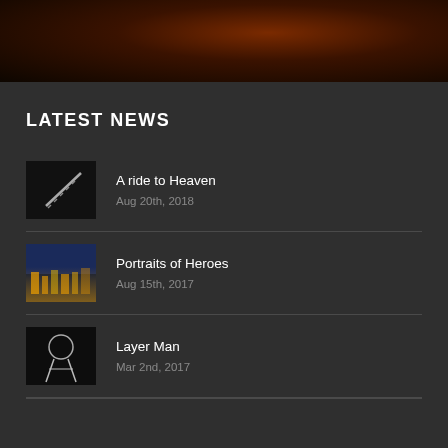[Figure (photo): Dark brownish-red image at top of page, appears to be a night/space or fire scene]
LATEST NEWS
A ride to Heaven
Aug 20th, 2018
Portraits of Heroes
Aug 15th, 2017
Layer Man
Mar 2nd, 2017